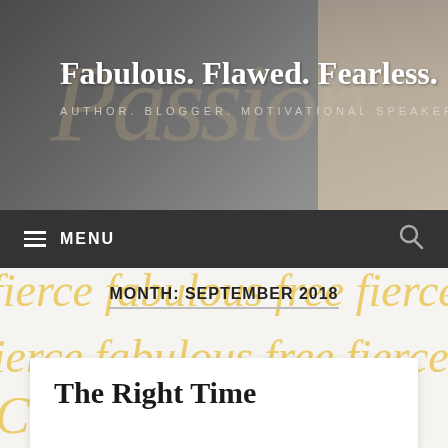[Figure (photo): Blog header banner with dark gray gradient background, cursive watermark text 'Passion', and a partial face (eye visible) on the right side.]
Fabulous. Flawed. Fearless.
AUTHOR. BLOGGER. MOTIVATIONAL SPEAKER
≡ MENU
MONTH: SEPTEMBER 2018
[Figure (illustration): Decorative background with repeating golden script text reading 'fierce fabulous free' in cursive lettering on light background.]
The Right Time